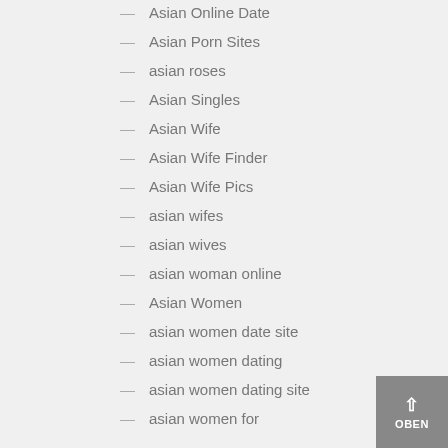Asian Online Date
Asian Porn Sites
asian roses
Asian Singles
Asian Wife
Asian Wife Finder
Asian Wife Pics
asian wifes
asian wives
asian woman online
Asian Women
asian women date site
asian women dating
asian women dating site
asian women for